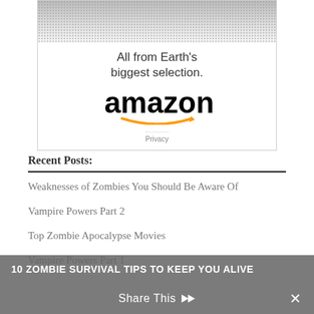[Figure (advertisement): Amazon advertisement with dotted image at top, tagline 'All from Earth's biggest selection.' and Amazon logo with orange smile arrow, Privacy link at bottom]
Recent Posts:
Weaknesses of Zombies You Should Be Aware Of
Vampire Powers Part 2
Top Zombie Apocalypse Movies
Vampire Powers Part 1
10 ZOMBIE SURVIVAL TIPS TO KEEP YOU ALIVE    Share This  ✕